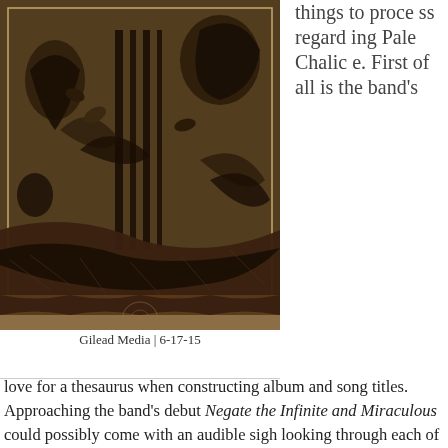[Figure (illustration): Dark etching-style album artwork showing surreal figures, trees, chains, and organic forms in sepia/dark tones — likely the cover art for a black metal album by Pale Chalice]
Gilead Media | 6-17-15
things to process regarding Pale Chalice. First of all is the band's love for a thesaurus when constructing album and song titles. Approaching the band's debut Negate the Infinite and Miraculous could possibly come with an audible sigh looking through each of the song titles. This sort of density which comes attached to black metal can be exhilarating as